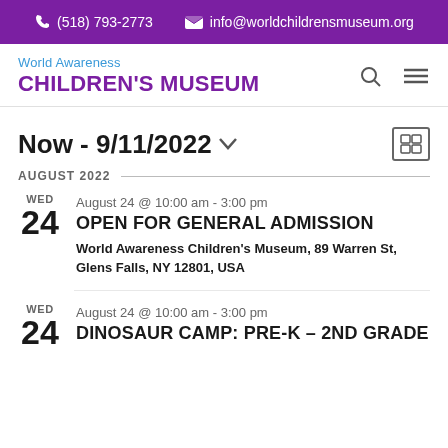(518) 793-2773  info@worldchildrensmuseum.org
[Figure (logo): World Awareness Children's Museum logo with blue top text and purple bold bottom text]
Now - 9/11/2022
AUGUST 2022
WED 24  August 24 @ 10:00 am - 3:00 pm  OPEN FOR GENERAL ADMISSION  World Awareness Children's Museum, 89 Warren St, Glens Falls, NY 12801, USA
WED 24  August 24 @ 10:00 am - 3:00 pm  DINOSAUR CAMP: PRE-K – 2ND GRADE